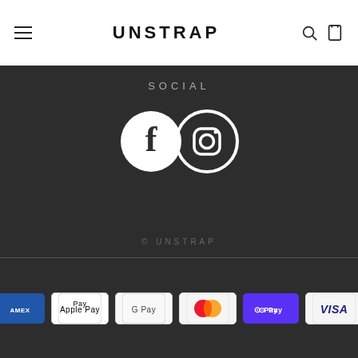UNSTRAP
SOCIAL
[Figure (logo): Facebook and Instagram social media icons (white circles with logos on dark background)]
© UNSTRAP
[Figure (infographic): Payment method badges: American Express, Apple Pay, Google Pay, Mastercard, Shop Pay, Visa]